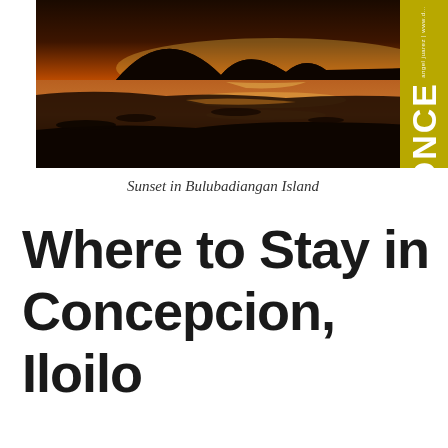[Figure (photo): Sunset photograph of Bulubadiangan Island showing a silhouetted mountain against an orange sky reflected on a calm beach/tidal flat, with a yellow-green sidebar showing 'CONCE' (partial 'CONCEPCION' text) in white bold letters]
Sunset in Bulubadiangan Island
Where to Stay in Concepcion, Iloilo